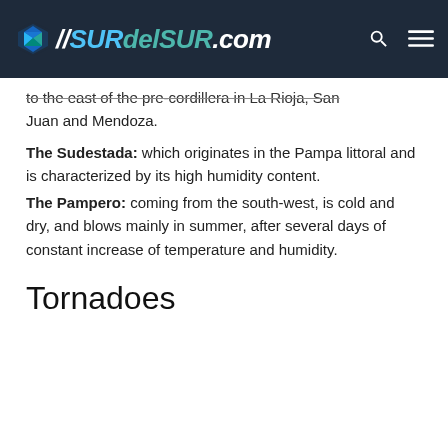//SURdelSUR.com
to the east of the pre-cordillera in La Rioja, San Juan and Mendoza.
The Sudestada: which originates in the Pampa littoral and is characterized by its high humidity content.
The Pampero: coming from the south-west, is cold and dry, and blows mainly in summer, after several days of constant increase of temperature and humidity.
Tornadoes